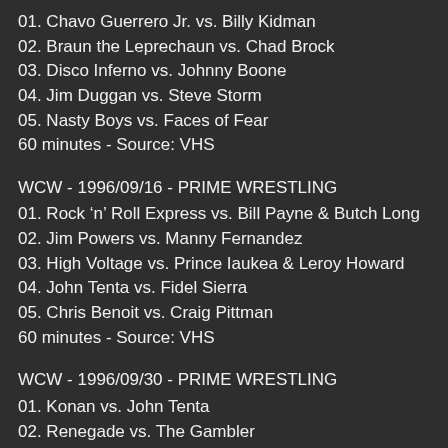01. Chavo Guerrero Jr. vs. Billy Kidman
02. Braun the Leprechaun vs. Chad Brock
03. Disco Inferno vs. Johnny Boone
04. Jim Duggan vs. Steve Storm
05. Nasty Boys vs. Faces of Fear
60 minutes - Source: VHS
WCW - 1996/09/16 - PRIME WRESTLING
01. Rock 'n' Roll Express vs. Bill Payne & Butch Long
02. Jim Powers vs. Manny Fernandez
03. High Voltage vs. Prince Iaukea & Leroy Howard
04. John Tenta vs. Fidel Sierra
05. Chris Benoit vs. Craig Pittman
60 minutes - Source: VHS
WCW - 1996/09/30 - PRIME WRESTLING
01. Konan vs. John Tenta
02. Renegade vs. The Gambler
03. Michael Wallstreet vs. Johnny Boone
04. Arn Anderson & Chris Benoit vs. Faces of Fear